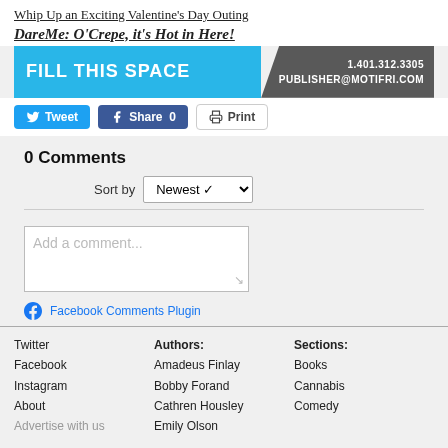Whip Up an Exciting Valentine's Day Outing
DareMe: O'Crepe, it's Hot in Here!
[Figure (infographic): Advertisement banner: cyan/blue left side with 'FILL THIS SPACE' in white bold text, gray right side with '1.401.312.3305' and 'PUBLISHER@MOTIFRI.COM']
Tweet | Share 0 | Print
0 Comments
Sort by Newest
Add a comment...
Facebook Comments Plugin
Twitter
Facebook
Instagram
About
Advertise with us
Authors:
Amadeus Finlay
Bobby Forand
Cathren Housley
Emily Olson
Sections:
Books
Cannabis
Comedy